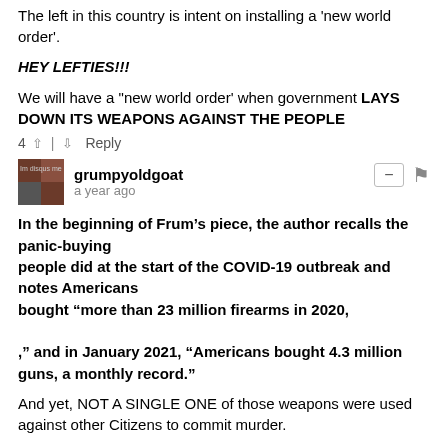The left in this country is intent on installing a 'new world order'.
HEY LEFTIES!!!
We will have a "new world order' when government LAYS DOWN ITS WEAPONS AGAINST THE PEOPLE
4  |   Reply
grumpyoldgoat
a year ago
In the beginning of Frum’s piece, the author recalls the panic-buying
people did at the start of the COVID-19 outbreak and notes Americans
bought “more than 23 million firearms in 2020,

,” and in January 2021, “Americans bought 4.3 million guns, a monthly record.”
And yet, NOT A SINGLE ONE of those weapons were used against other Citizens to commit murder.